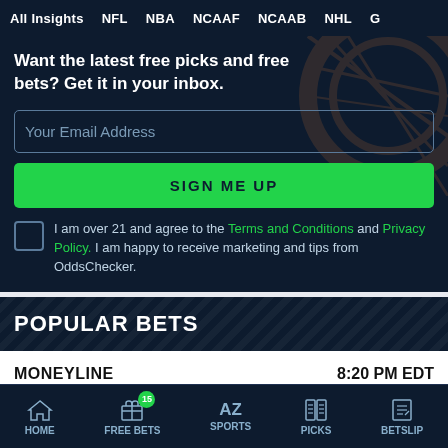All Insights | NFL | NBA | NCAAF | NCAAB | NHL | G
Want the latest free picks and free bets? Get it in your inbox.
Your Email Address
SIGN ME UP
I am over 21 and agree to the Terms and Conditions and Privacy Policy. I am happy to receive marketing and tips from OddsChecker.
POPULAR BETS
MONEYLINE
8:20 PM EDT
Sep 8
HOME | FREE BETS 15 | SPORTS AZ | PICKS | BETSLIP